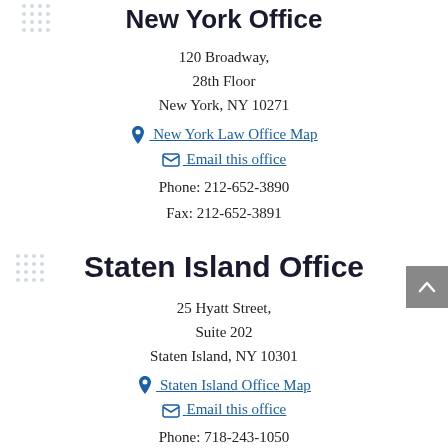New York Office
120 Broadway,
28th Floor
New York, NY 10271
📍 New York Law Office Map
✉ Email this office
Phone: 212-652-3890
Fax: 212-652-3891
Staten Island Office
25 Hyatt Street,
Suite 202
Staten Island, NY 10301
📍 Staten Island Office Map
✉ Email this office
Phone: 718-243-1050